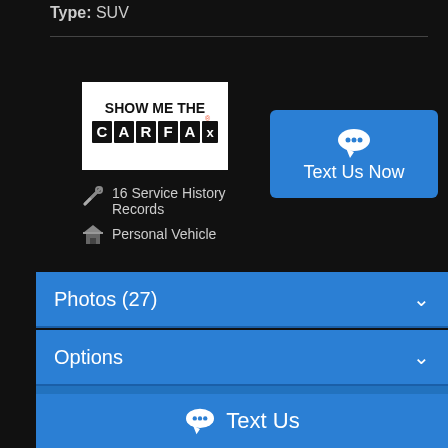Type: SUV
[Figure (logo): Show Me the CARFAX logo - white background with bold text showing SHOW ME THE CARFAX in black]
[Figure (other): Blue 'Text Us Now' button with chat bubble icon]
16 Service History Records
Personal Vehicle
Photos (27)
Options
Vehicle Description
Text Us